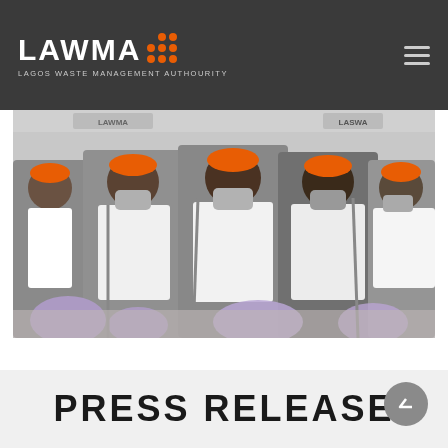LAWMA - LAGOS WASTE MANAGEMENT AUTHOURITY
[Figure (photo): Four people wearing white polo shirts with orange caps and face masks, holding purple waste bags and litter pickers, standing in front of banners including LASWA and NASC, at a waste management event.]
PRESS RELEASE